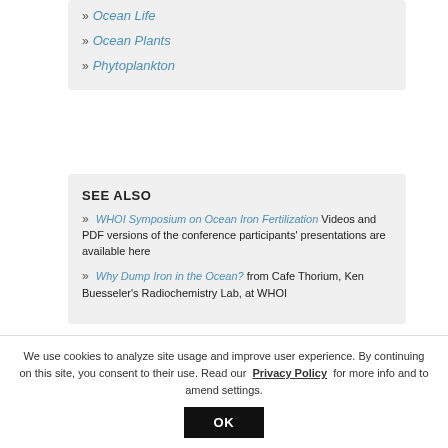» Ocean Life
» Ocean Plants
» Phytoplankton
SEE ALSO
» WHOI Symposium on Ocean Iron Fertilization Videos and PDF versions of the conference participants' presentations are available here
» Why Dump Iron in the Ocean? from Cafe Thorium, Ken Buesseler's Radiochemistry Lab, at WHOI
We use cookies to analyze site usage and improve user experience. By continuing on this site, you consent to their use. Read our Privacy Policy for more info and to amend settings.